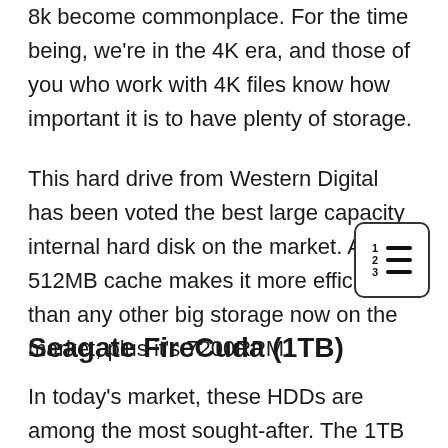8k become commonplace. For the time being, we're in the 4K era, and those of you who work with 4K files know how important it is to have plenty of storage.
This hard drive from Western Digital has been voted the best large capacity internal hard disk on the market. A 512MB cache makes it more efficient than any other big storage now on the market, plus it's 7200RPM.
Seagate FireCuda (1TB)
In today's market, these HDDs are among the most sought-after. The 1TB Seagate Firecuda features all the bells and whistles of the 3TB